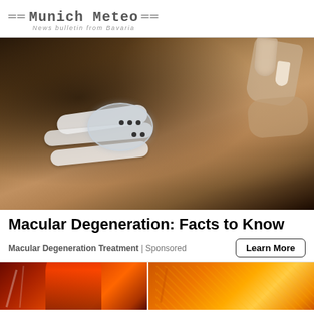Munich Meteo — News bulletin from Bavaria
[Figure (photo): Close-up photo of a person lying down receiving eye treatment with a medical eye cup device taped to their face, while hands administer eye drops from a small bottle]
Macular Degeneration: Facts to Know
Macular Degeneration Treatment | Sponsored
[Figure (photo): Bottom strip showing two partial images: left side shows a red and orange stylized eye illustration, right side shows an orange/yellow textured image, partially cropped]